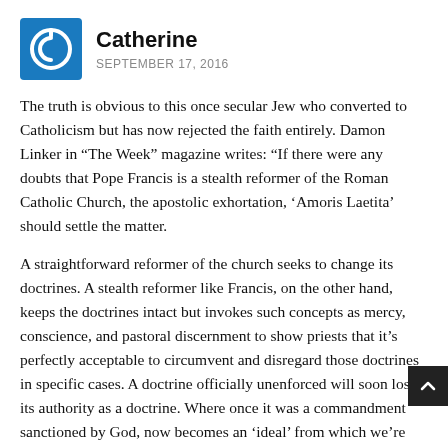Catherine
SEPTEMBER 17, 2016
The truth is obvious to this once secular Jew who converted to Catholicism but has now rejected the faith entirely. Damon Linker in “The Week” magazine writes: “If there were any doubts that Pope Francis is a stealth reformer of the Roman Catholic Church, the apostolic exhortation, ‘Amoris Laetita’ should settle the matter.
A straightforward reformer of the church seeks to change its doctrines. A stealth reformer like Francis, on the other hand, keeps the doctrines intact but invokes such concepts as mercy, conscience, and pastoral discernment to show priests that it’s perfectly acceptable to circumvent and disregard those doctrines in specific cases. A doctrine officially unenforced will soon lose its authority as a doctrine. Where once it was a commandment sanctioned by God, now becomes an ‘ideal’ from which we’re expected to fall short. Before